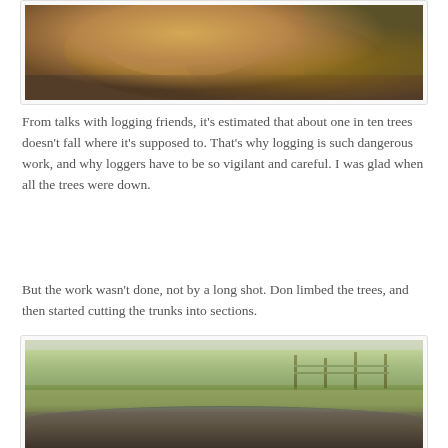[Figure (photo): Close-up of a freshly cut tree stump cross-section showing wood grain, sawdust, and surrounding dirt and debris]
From talks with logging friends, it's estimated that about one in ten trees doesn't fall where it's supposed to. That's why logging is such dangerous work, and why loggers have to be so vigilant and careful. I was glad when all the trees were down.
But the work wasn't done, not by a long shot. Don limbed the trees, and then started cutting the trunks into sections.
[Figure (photo): A felled tree trunk lying on the ground in an open field with dead grass and sparse vegetation, with a fence visible in the background]